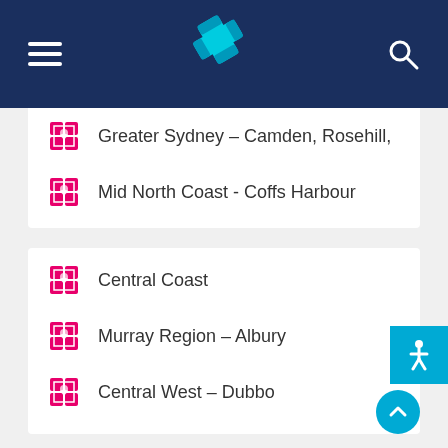Navigation header with hamburger menu, logo, and search icon
Greater Sydney – Camden, Rosehill,
Mid North Coast - Coffs Harbour
Central Coast
Murray Region – Albury
Central West – Dubbo
Find your local office here.